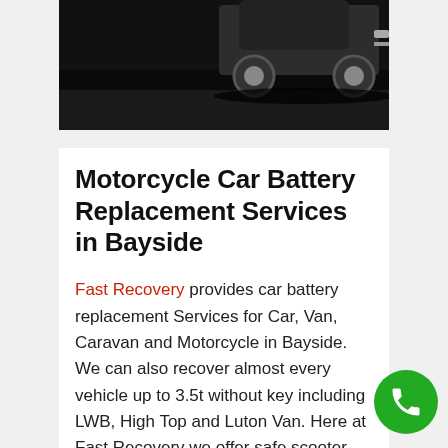[Figure (photo): Dark photograph of the rear of a black vehicle on a road, shot from low angle, mostly dark tones]
Motorcycle Car Battery Replacement Services in Bayside
Fast Recovery provides car battery replacement Services for Car, Van, Caravan and Motorcycle in Bayside. We can also recover almost every vehicle up to 3.5t without key including LWB, High Top and Luton Van. Here at Fast Recovery we offer safe scooter and motorcycle recovery in Bayside ranging from 50cc to 1400cc and as well as custom made tricycle recovery in